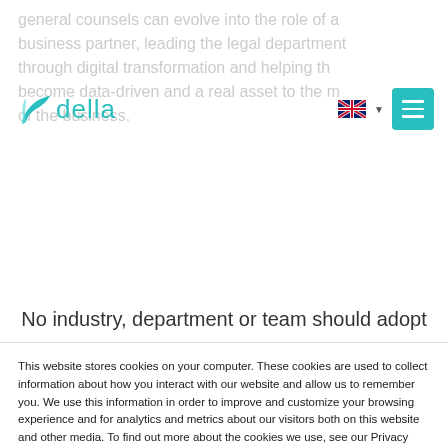general counsels can evolve into the role of a business partner, leading the legal department through digital transformation and helping the become data-driven and a real asset to the of the business.
[Figure (logo): Della logo with teal leaf/feather icon and 'della' text in teal]
[Figure (other): UK flag icon with dropdown arrow and teal hamburger menu button]
No industry, department or team should adopt
This website stores cookies on your computer. These cookies are used to collect information about how you interact with our website and allow us to remember you. We use this information in order to improve and customize your browsing experience and for analytics and metrics about our visitors both on this website and other media. To find out more about the cookies we use, see our Privacy Policy.
If you decline, your information won't be tracked when you visit this website. A single cookie will be used in your browser to remember your preference not to be tracked.
Accept
Decline